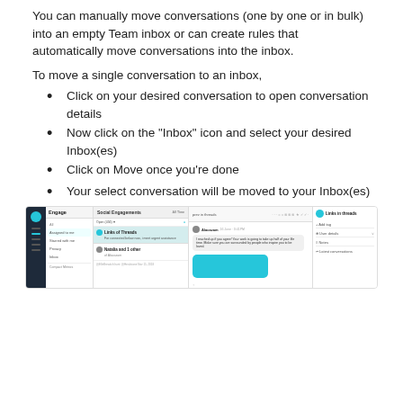You can manually move conversations (one by one or in bulk) into an empty Team inbox or can create rules that automatically move conversations into the inbox.
To move a single conversation to an inbox,
Click on your desired conversation to open conversation details
Now click on the "Inbox" icon and select your desired Inbox(es)
Click on Move once you're done
Your select conversation will be moved to your Inbox(es)
[Figure (screenshot): Screenshot of a customer support inbox interface showing conversation list, chat window with a teal/cyan colored message bubble, and user details panel on the right.]